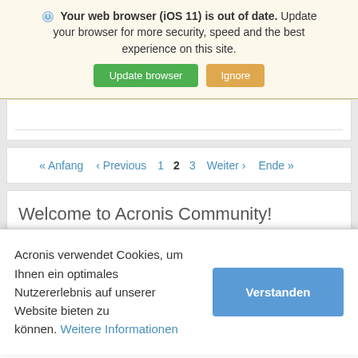Your web browser (iOS 11) is out of date. Update your browser for more security, speed and the best experience on this site. [Update browser] [Ignore]
«Anfang  ‹Previous  1  2  3  Weiter›  Ende»
Welcome to Acronis Community!
Acronis verwendet Cookies, um Ihnen ein optimales Nutzererlebnis auf unserer Website bieten zu können. Weitere Informationen [Verstanden]